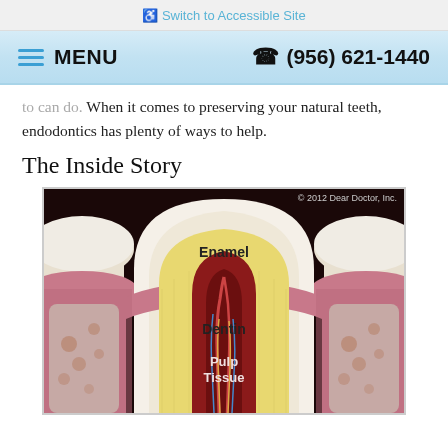♿ Switch to Accessible Site
≡ MENU    ☎ (956) 621-1440
to can do. When it comes to preserving your natural teeth, endodontics has plenty of ways to help.
The Inside Story
[Figure (illustration): Cross-section anatomical illustration of a tooth showing three labeled layers: Enamel (outer white layer), Dentin (yellow middle layer), and Pulp Tissue (red inner canal). Adjacent teeth and gum tissue visible on sides. Copyright 2012 Dear Doctor, Inc.]